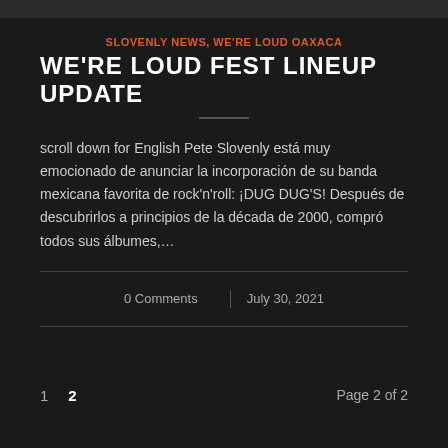SLOVENLY NEWS, WE'RE LOUD OAXACA
WE'RE LOUD FEST LINEUP UPDATE
scroll down for English Pete Slovenly está muy emocionado de anunciar la incorporación de su banda mexicana favorita de rock'n'roll: ¡DUG DUG'S! Después de descubrirlos a principios de la década de 2000, compró todos sus álbumes,…
0 Comments | July 30, 2021
1  2  Page 2 of 2